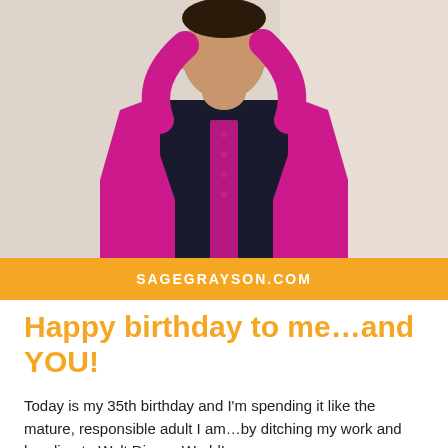[Figure (photo): A person wearing a bright fuchsia/magenta cardigan over a dark top, hands raised near face, photographed from the torso up against a light background]
SAGEGRAYSON.COM
Happy birthday to me…and YOU!
Today is my 35th birthday and I'm spending it like the mature, responsible adult I am…by ditching my work and heading to Walt Disney World!
Chris is taking me to the Magic Kingdom for a day of